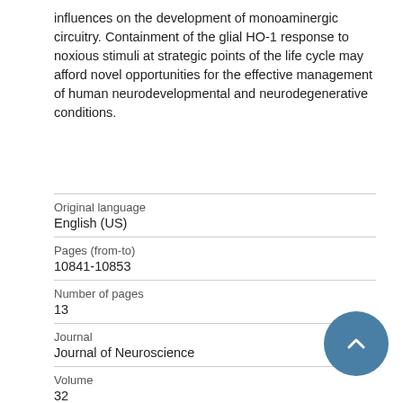influences on the development of monoaminergic circuitry. Containment of the glial HO-1 response to noxious stimuli at strategic points of the life cycle may afford novel opportunities for the effective management of human neurodevelopmental and neurodegenerative conditions.
| Field | Value |
| --- | --- |
| Original language | English (US) |
| Pages (from-to) | 10841-10853 |
| Number of pages | 13 |
| Journal | Journal of Neuroscience |
| Volume | 32 |
| Issue number |  |